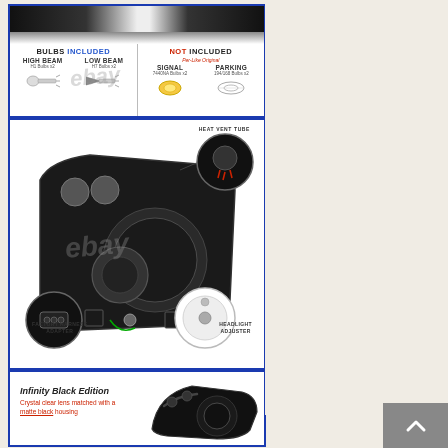[Figure (infographic): Bulbs included / not included chart for car headlights. Left side: BULBS INCLUDED - HIGH BEAM (H1 Bulbs x2) and LOW BEAM (H7 Bulbs x2). Right side: NOT INCLUDED (Per-Like Original) - SIGNAL (7440/NA Bulbs x2) and PARKING (194/168 Bulbs x2). Top section shows illuminated headlight beam. eBay watermark visible.]
[Figure (engineering-diagram): Rear view of car headlight assembly showing internal components. Labels point to: HEAT VENT TUBE (top right with close-up), FACTORY HARNESS ADAPTER (bottom left with close-up connector), HEADLIGHT ADJUSTER (bottom right with close-up socket). eBay watermark visible.]
[Figure (photo): Infinity Black Edition headlight. Text reads: 'Infinity Black Edition - Crystal clear lens matched with a matte black housing.' Shows a dark smoked/black projector headlight assembly on right side.]